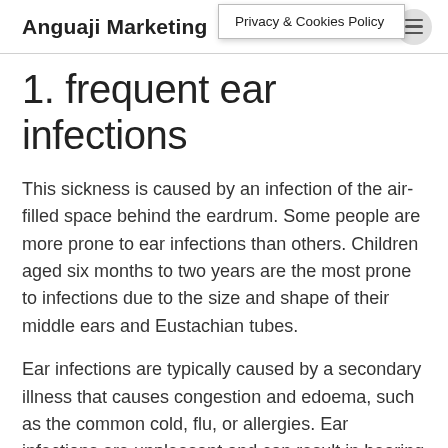Anguaji Marketing
Privacy & Cookies Policy
1. frequent ear infections
This sickness is caused by an infection of the air-filled space behind the eardrum. Some people are more prone to ear infections than others. Children aged six months to two years are the most prone to infections due to the size and shape of their middle ears and Eustachian tubes.
Ear infections are typically caused by a secondary illness that causes congestion and edoema, such as the common cold, flu, or allergies. Ear infections are unpleasant and can result in hearing loss, fever, headaches, and balance problems.